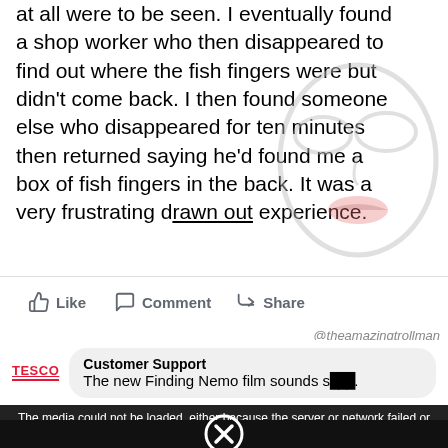at all were to be seen. I eventually found a shop worker who then disappeared to find out where the fish fingers were but didn't come back. I then found someone else who disappeared for ten minutes then returned saying he'd found me a box of fish fingers in the back. It was a very frustrating drawn out experience.
[Figure (illustration): Meme face overlay — a simple line-drawn face with closed/blank eyes and pink lips, semi-transparent, overlaid on the post text]
Like  Comment  Share
@theamazingtrollman
Customer Support
The new Finding Nemo film sounds s***.
The media could not be loaded, either because the server or network failed or because the format is not supported.